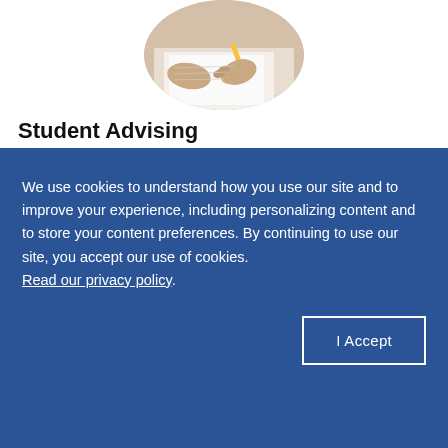[Figure (photo): Circular cropped photo of a student writing/studying at a desk, viewed from above, showing hands with a pencil on paper]
Student Advising
Before enrolling, connect with a student advisor who'll help customize your course of study and ac... To... fo... What Va... ion of this certificate program?
We use cookies to understand how you use our site and to improve your experience, including personalizing content and to store your content preferences. By continuing to use our site, you accept our use of cookies. Read our privacy policy.
Are you looking to learn the ba... business essentials -OR- more specialized/advanced business management topics?